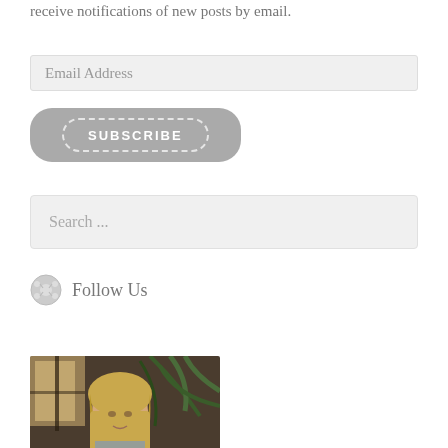receive notifications of new posts by email.
Email Address
[Figure (other): Subscribe button with dashed border on grey rounded background, text SUBSCRIBE]
Search ...
Follow Us
[Figure (photo): Portrait photo of a blonde woman indoors with palm plant in background]